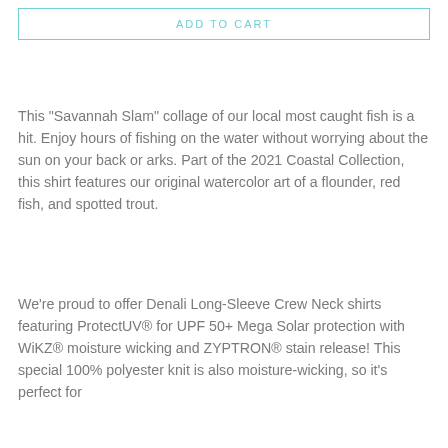ADD TO CART
This "Savannah Slam" collage of our local most caught fish is a hit. Enjoy hours of fishing on the water without worrying about the sun on your back or arks. Part of the 2021 Coastal Collection, this shirt features our original watercolor art of a flounder, red fish, and spotted trout.
We're proud to offer Denali Long-Sleeve Crew Neck shirts featuring ProtectUV® for UPF 50+ Mega Solar protection with WiKZ® moisture wicking and ZYPTRON® stain release! This special 100% polyester knit is also moisture-wicking, so it's perfect for